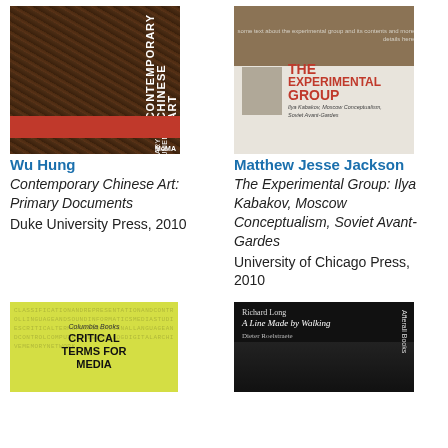[Figure (photo): Book cover: Contemporary Chinese Art: Primary Documents, MoMA]
[Figure (photo): Book cover: The Experimental Group: Ilya Kabakov, Moscow Conceptualism, Soviet Avant-Gardes]
Wu Hung
Contemporary Chinese Art: Primary Documents
Duke University Press, 2010
Matthew Jesse Jackson
The Experimental Group: Ilya Kabakov, Moscow Conceptualism, Soviet Avant-Gardes
University of Chicago Press, 2010
[Figure (photo): Book cover: Critical Terms for Media Studies]
[Figure (photo): Book cover: Richard Long, A Line Made by Walking, Afterall Books]